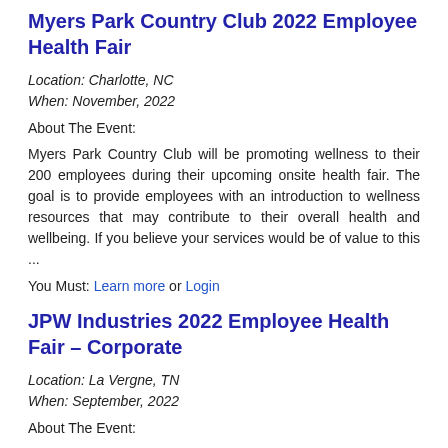Myers Park Country Club 2022 Employee Health Fair
Location: Charlotte, NC
When: November, 2022
About The Event:
Myers Park Country Club will be promoting wellness to their 200 employees during their upcoming onsite health fair. The goal is to provide employees with an introduction to wellness resources that may contribute to their overall health and wellbeing. If you believe your services would be of value to this ...
You Must: Learn more or Login
JPW Industries 2022 Employee Health Fair – Corporate
Location: La Vergne, TN
When: September, 2022
About The Event: